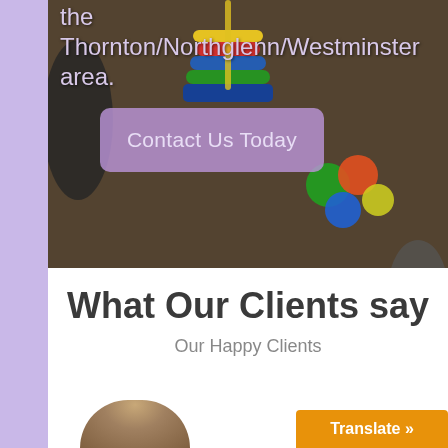[Figure (photo): Children playing with colorful toys on carpet, showing shoes and toy balls in background]
the Thornton/Northglenn/Westminster area.
Contact Us Today
What Our Clients say
Our Happy Clients
[Figure (photo): Portrait photo of a person, partially visible at bottom of page]
Translate »